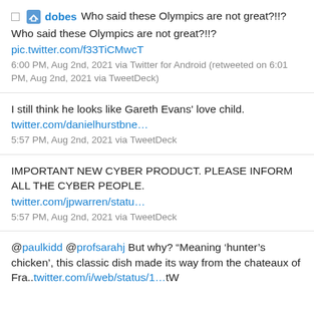dobes Who said these Olympics are not great?!!? pic.twitter.com/f33TiCMwcT
6:00 PM, Aug 2nd, 2021 via Twitter for Android (retweeted on 6:01 PM, Aug 2nd, 2021 via TweetDeck)
I still think he looks like Gareth Evans' love child.
twitter.com/danielhurstbne…
5:57 PM, Aug 2nd, 2021 via TweetDeck
IMPORTANT NEW CYBER PRODUCT. PLEASE INFORM ALL THE CYBER PEOPLE.
twitter.com/jpwarren/statu…
5:57 PM, Aug 2nd, 2021 via TweetDeck
@paulkidd @profsarahj But why? “Meaning ‘hunter’s chicken’, this classic dish made its way from the chateaux of Fra..twitter.com/i/web/status/1...tW